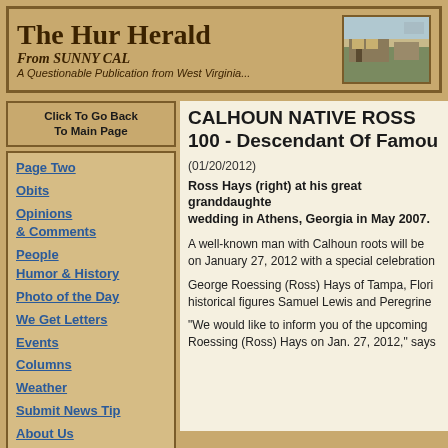The Hur Herald
From SUNNY CAL
A Questionable Publication from West Virginia...
Click To Go Back
To Main Page
CALHOUN NATIVE ROSS TURNS 100 - Descendant Of Famous...
(01/20/2012)
Ross Hays (right) at his great granddaughter's wedding in Athens, Georgia in May 2007.
A well-known man with Calhoun roots will be on January 27, 2012 with a special celebration
George Roessing (Ross) Hays of Tampa, Florida historical figures Samuel Lewis and Peregrine
"We would like to inform you of the upcoming Roessing (Ross) Hays on Jan. 27, 2012," says
Page Two
Obits
Opinions & Comments
People
Humor & History
Photo of the Day
We Get Letters
Events
Columns
Weather
Submit News Tip
About Us
Sunny Cal Scenes